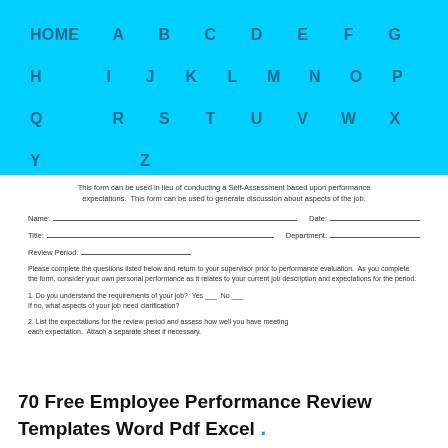HOME  A  B  C  D  E  F  G  H  I  J  K  L  M  N  O  P  Q  R  S  T  U  V  W  X  Y  Z
This form can be used in lieu of conducting a Self-Assessment based upon performance expectations.  This form can be used to generate discussion about aspects of the job.
Name:  ____________________  Date:  ____________________
Title:  ____________________  Department:  ________________
Review Period:  ____________________
Please complete the questions listed below and return to your supervisor prior to performance evaluation.  As you complete the form, consider your own personal performance as it relates to your current job description and expectations for the period.
1. Do you understand the requirements of your job?  Yes ___  No ___
If no, what aspects of your job need clarification?
2. List the expectations for the review period and assess how well you have meeting
each expectation.  Attach a separate sheet if necessary.
70 Free Employee Performance Review Templates Word Pdf Excel .